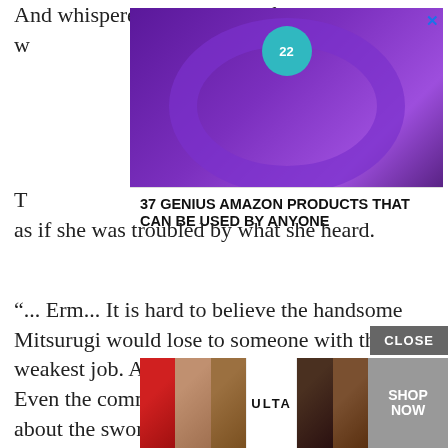And whispered into the ear of the white suit
w
[Figure (photo): Advertisement showing purple headphones on a wooden surface with a '22' teal badge. Overlaid text reads '37 GENIUS AMAZON PRODUCTS THAT CAN BE USED BY ANYONE' on a white background banner. An X close button appears in the top right.]
T
as if she was troubled by what she heard.
“... Erm... It is hard to believe the handsome Mitsurugi would lose to someone with the weakest job. Are you lying to me, a royalty? Even the common people on the streets know about the sword master who wields a magic sword. It is unfathomable for him to lose to someone with the weakest job in the beginner town, since he is handsome...
That’s what Her Highness said... I think so t
[Figure (photo): Bottom advertisement strip showing Ulta Beauty cosmetics images — lip makeup, brush, eye makeup, Ulta logo, eye makeup close-up — with a SHOP NOW button and a CLOSE button above it.]